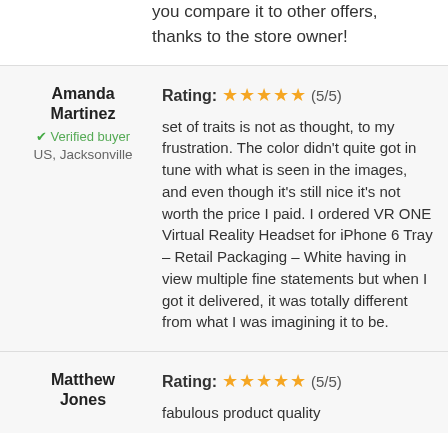you compare it to other offers, thanks to the store owner!
Amanda Martinez
✔ Verified buyer
US, Jacksonville
Rating: ★★★★★ (5/5)
set of traits is not as thought, to my frustration. The color didn't quite got in tune with what is seen in the images, and even though it's still nice it's not worth the price I paid. I ordered VR ONE Virtual Reality Headset for iPhone 6 Tray – Retail Packaging – White having in view multiple fine statements but when I got it delivered, it was totally different from what I was imagining it to be.
Matthew Jones
Rating: ★★★★★ (5/5)
fabulous product quality